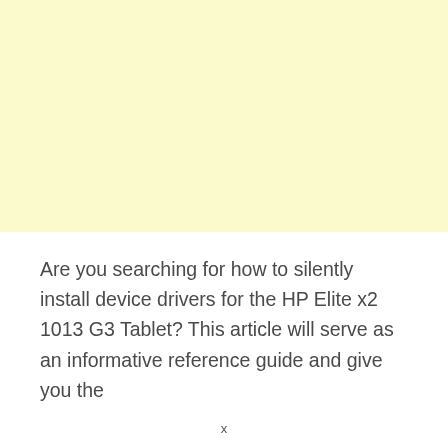[Figure (other): Light yellow/cream colored rectangle occupying the top portion of the page, representing an advertisement or banner placeholder area.]
Are you searching for how to silently install device drivers for the HP Elite x2 1013 G3 Tablet? This article will serve as an informative reference guide and give you the
x